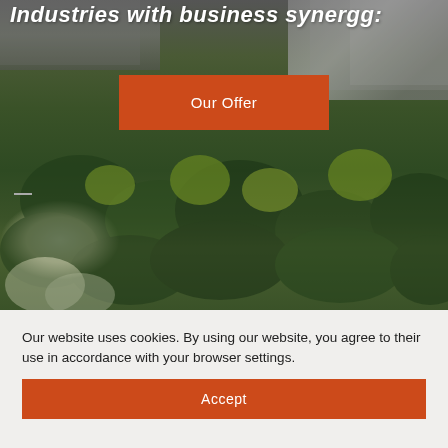[Figure (photo): Aerial view of forested area with a modern building visible in the upper right and a parking/road area in the upper left. White blossoming trees visible at the bottom left.]
Industries with business synergg:
Our Offer
Our website uses cookies. By using our website, you agree to their use in accordance with your browser settings.
Accept